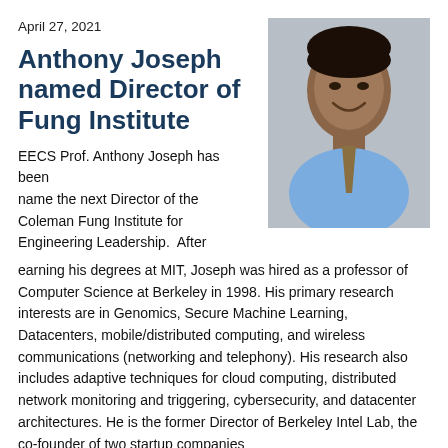April 27, 2021
Anthony Joseph named Director of Fung Institute
[Figure (photo): Headshot of Anthony Joseph, a smiling man in a light blue dress shirt and tie, on a grey background]
EECS Prof. Anthony Joseph has been name the next Director of the Coleman Fung Institute for Engineering Leadership.  After earning his degrees at MIT, Joseph was hired as a professor of Computer Science at Berkeley in 1998. His primary research interests are in Genomics, Secure Machine Learning, Datacenters, mobile/distributed computing, and wireless communications (networking and telephony). His research also includes adaptive techniques for cloud computing, distributed network monitoring and triggering, cybersecurity, and datacenter architectures. He is the former Director of Berkeley Intel Lab, the co-founder of two startup companies